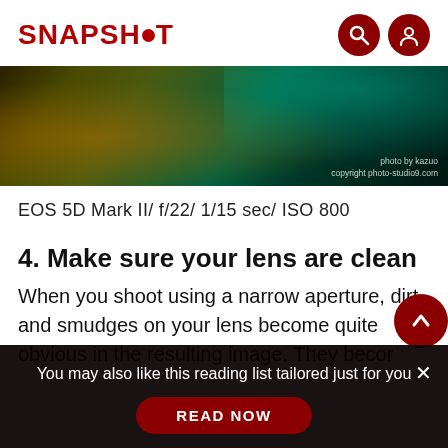SNAPSHOT
[Figure (photo): Dark abstract bokeh photograph of light beams, with watermark 'photo by kazuo copyright photo-studio9.com']
EOS 5D Mark II/ f/22/ 1/15 sec/ ISO 800
4. Make sure your lens are clean
When you shoot using a narrow aperture, dirt and smudges on your lens become quite obvious in the resulting image. They beco
You may also like this reading list tailored just for you
READ NOW